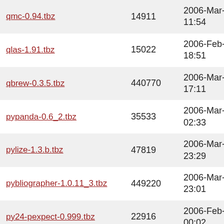| Filename | Size | Date |
| --- | --- | --- |
| qmc-0.94.tbz | 14911 | 2006-Mar-01 11:54 |
| qlas-1.91.tbz | 15022 | 2006-Feb-27 18:51 |
| qbrew-0.3.5.tbz | 440770 | 2006-Mar-01 17:11 |
| pypanda-0.6_2.tbz | 35533 | 2006-Mar-02 02:33 |
| pylize-1.3.b.tbz | 47819 | 2006-Mar-01 23:29 |
| pybliographer-1.0.11_3.tbz | 449220 | 2006-Mar-08 23:01 |
| py24-pexpect-0.999.tbz | 22916 | 2006-Feb-28 00:02 |
| py24-osd-0.2.14_1.tbz | 21566 | 2006-Mar-08 18:49 |
| projectionlib-3.7.tbz | 82382 | 2006-Feb-28 16:56 |
| portell-0.2_1.tbz | 3580 | 2006-Feb-28 00:02 |
| porteasy-2.8.4.tbz | 16790 | 2006-Feb-27 18:50 |